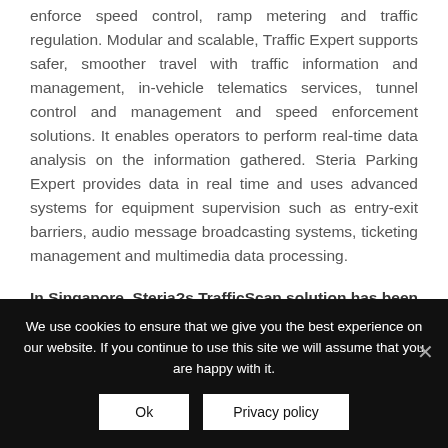enforce speed control, ramp metering and traffic regulation. Modular and scalable, Traffic Expert supports safer, smoother travel with traffic information and management, in-vehicle telematics services, tunnel control and management and speed enforcement solutions. It enables operators to perform real-time data analysis on the information gathered. Steria Parking Expert provides data in real time and uses advanced systems for equipment supervision such as entry-exit barriers, audio message broadcasting systems, ticketing management and multimedia data processing.
In Singapore, Steria?s TrafficScan solution has been used to provide the Land Transport
We use cookies to ensure that we give you the best experience on our website. If you continue to use this site we will assume that you are happy with it.